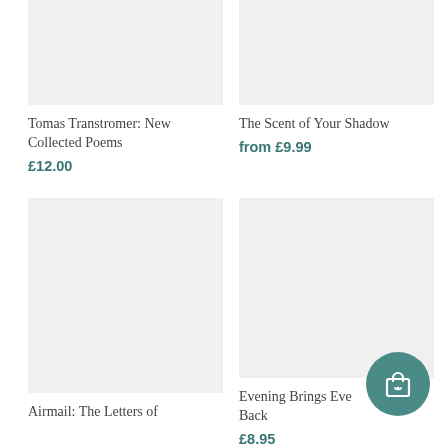[Figure (photo): Book cover placeholder image for Tomas Transtromer: New Collected Poems]
Tomas Transtromer: New Collected Poems
£12.00
[Figure (photo): Book cover placeholder image for The Scent of Your Shadow]
The Scent of Your Shadow
from £9.99
[Figure (photo): Book cover placeholder image for Airmail: The Letters of]
Airmail: The Letters of
[Figure (photo): Book cover placeholder image for Evening Brings Everything Back]
Evening Brings Everything Back
£8.95